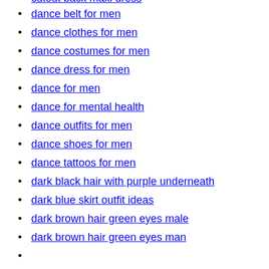cutout back maxi dress
dance belt for men
dance clothes for men
dance costumes for men
dance dress for men
dance for men
dance for mental health
dance outfits for men
dance shoes for men
dance tattoos for men
dark black hair with purple underneath
dark blue skirt outfit ideas
dark brown hair green eyes male
dark brown hair green eyes man
(partial — cut off at bottom)